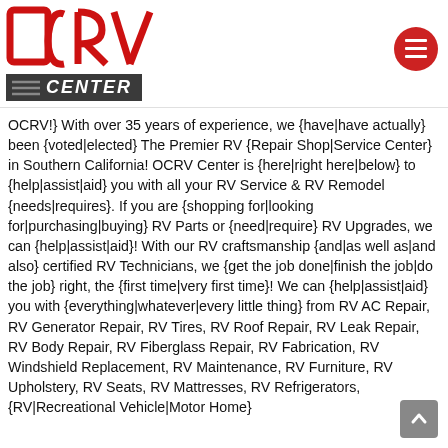[Figure (logo): OCRV Center logo with red letters and dark CENTER strip with horizontal lines]
OCRV!} With over 35 years of experience, we {have|have actually} been {voted|elected} The Premier RV {Repair Shop|Service Center} in Southern California! OCRV Center is {here|right here|below} to {help|assist|aid} you with all your RV Service & RV Remodel {needs|requires}. If you are {shopping for|looking for|purchasing|buying} RV Parts or {need|require} RV Upgrades, we can {help|assist|aid}! With our RV craftsmanship {and|as well as|and also} certified RV Technicians, we {get the job done|finish the job|do the job} right, the {first time|very first time}! We can {help|assist|aid} you with {everything|whatever|every little thing} from RV AC Repair, RV Generator Repair, RV Tires, RV Roof Repair, RV Leak Repair, RV Body Repair, RV Fiberglass Repair, RV Fabrication, RV Windshield Replacement, RV Maintenance, RV Furniture, RV Upholstery, RV Seats, RV Mattresses, RV Refrigerators, {RV|Recreational Vehicle|Motor Home}